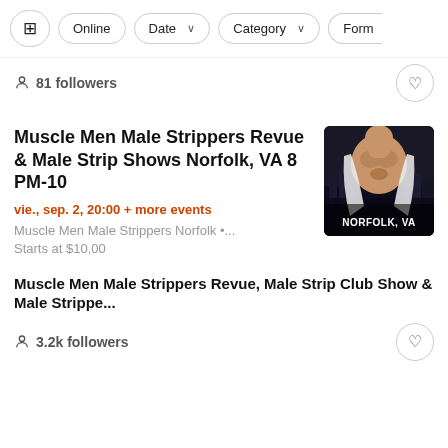Filter bar with: settings icon, Online, Date, Category, Form buttons
81 followers
Muscle Men Male Strippers Revue & Male Strip Shows Norfolk, VA 8 PM-10
vie., sep. 2, 20:00 + more events
Muscle Men Male Strippers Norfolk •...
Starts at $10,00
[Figure (photo): Photo of muscular man with NORFOLK, VA text overlay]
Muscle Men Male Strippers Revue, Male Strip Club Show & Male Strippe...
3.2k followers